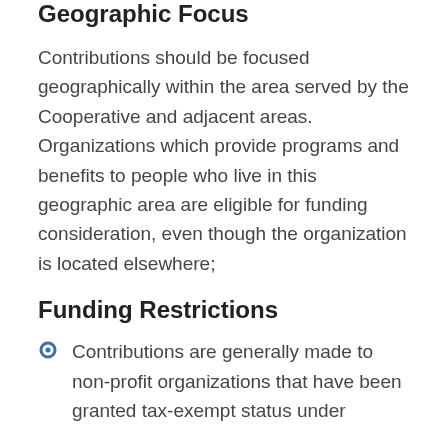Geographic Focus
Contributions should be focused geographically within the area served by the Cooperative and adjacent areas. Organizations which provide programs and benefits to people who live in this geographic area are eligible for funding consideration, even though the organization is located elsewhere;
Funding Restrictions
Contributions are generally made to non-profit organizations that have been granted tax-exempt status under